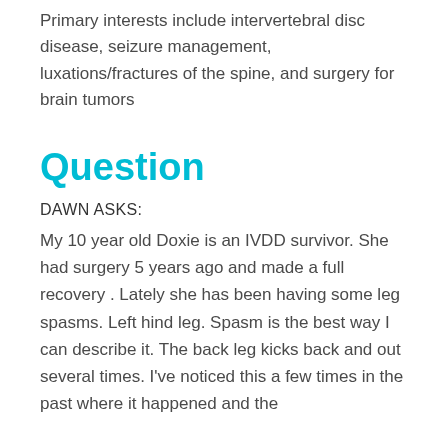Primary interests include intervertebral disc disease, seizure management, luxations/fractures of the spine, and surgery for brain tumors
Question
DAWN ASKS:
My 10 year old Doxie is an IVDD survivor. She had surgery 5 years ago and made a full recovery . Lately she has been having some leg spasms. Left hind leg. Spasm is the best way I can describe it. The back leg kicks back and out several times. I've noticed this a few times in the past where it happened and the